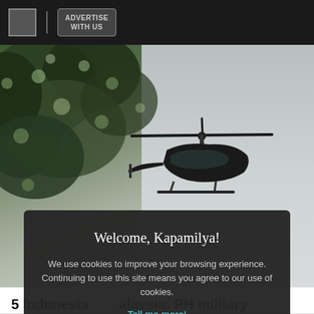ADVERTISE WITH US
[Figure (photo): Helicopter flying against overcast sky with blurred tree foliage in the left foreground]
5 Indonesia... ...alaysia: PH military
Reuters
Posted at Jan 20 06:21 AM
Welcome, Kapamilya!
We use cookies to improve your browsing experience.
Continuing to use this site means you agree to our use of cookies.
Tell me more!
I AGREE!